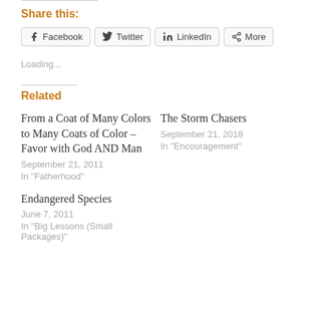Share this:
Facebook  Twitter  LinkedIn  More
Loading...
Related
From a Coat of Many Colors to Many Coats of Color – Favor with God AND Man
September 21, 2011
In "Fatherhood"
The Storm Chasers
September 21, 2018
In "Encouragement"
Endangered Species
June 7, 2011
In "Big Lessons (Small Packages)"